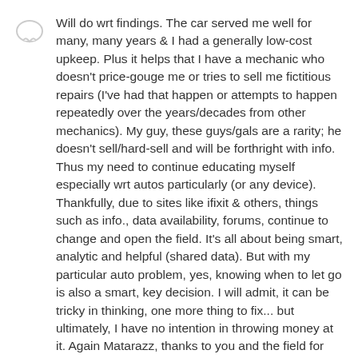Will do wrt findings. The car served me well for many, many years & I had a generally low-cost upkeep. Plus it helps that I have a mechanic who doesn't price-gouge me or tries to sell me fictitious repairs (I've had that happen or attempts to happen repeatedly over the years/decades from other mechanics). My guy, these guys/gals are a rarity; he doesn't sell/hard-sell and will be forthright with info. Thus my need to continue educating myself especially wrt autos particularly (or any device). Thankfully, due to sites like ifixit & others, things such as info., data availability, forums, continue to change and open the field. It's all about being smart, analytic and helpful (shared data). But with my particular auto problem, yes, knowing when to let go is also a smart, key decision. I will admit, it can be tricky in thinking, one more thing to fix... but ultimately, I have no intention in throwing money at it. Again Matarazz, thanks to you and the field for feedback on all issues posted.
10 сен 2019 г. из Mary